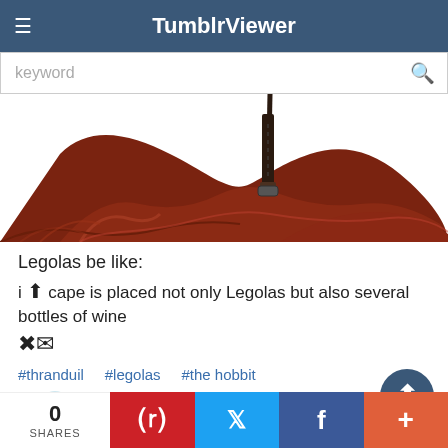TumblrViewer
keyword (search bar)
[Figure (illustration): Partial illustration of a large red/brown cape or cloak with a dark zipper/clasp visible in the center, cropped at top]
Legolas be like:
i↑ cape is placed not only Legolas but also several bottles of wine
#thranduil   #legolas   #the hobbit
↓ masterelrond
0 SHARES | Pinterest | Twitter | Facebook | +